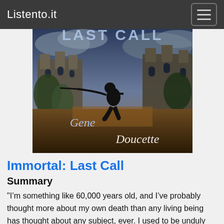Listento.it
[Figure (illustration): Book cover for 'Immortal: Last Call' by Gene Doucette. Shows a silhouetted figure holding a long weapon against a dramatic castle background with stormy skies. The title 'LAST CALL' appears at the top in distressed lettering, and the author name 'Gene Doucette' is written in flowing cursive script.]
Immortal: Last Call
Summary
"I’m something like 60,000 years old, and I’ve probably thought more about my own death than any living being has thought about any subject, ever. I used to be unduly preoccupied with what might constitute a “good death”, although interestingly, this has always been an after-the-fact analysis. What I